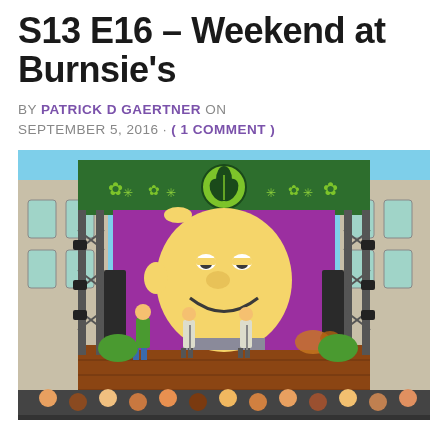S13 E16 – Weekend at Burnsie's
BY PATRICK D GAERTNER ON SEPTEMBER 5, 2016 · ( 1 COMMENT )
[Figure (illustration): Animated scene from The Simpsons episode 'Weekend at Burnsie's' showing a concert stage with scaffolding and lighting rigs on both sides, a large purple backdrop with a green cannabis leaf logo at the top center, banners with cannabis leaf designs along the top of the stage, a large image of Homer Simpson's face grinning on the backdrop, and animated characters on stage including people performing in front of a drum kit. Audience members are visible at the bottom.]